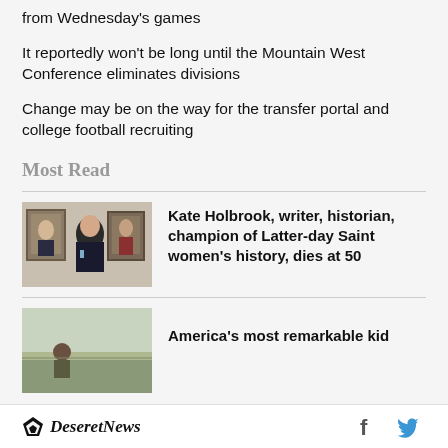from Wednesday's games
It reportedly won't be long until the Mountain West Conference eliminates divisions
Change may be on the way for the transfer portal and college football recruiting
Most Read
[Figure (photo): Woman standing in front of portrait paintings in a gallery]
Kate Holbrook, writer, historian, champion of Latter-day Saint women's history, dies at 50
[Figure (photo): Person outdoors in a field setting]
America's most remarkable kid
Deseret News